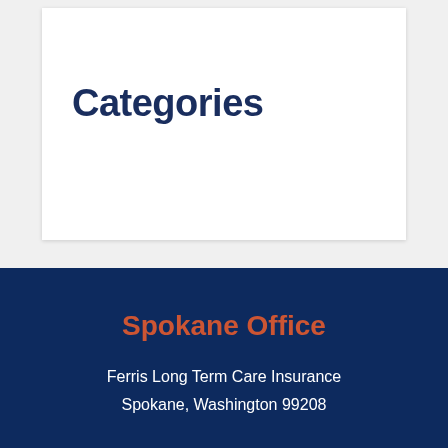Categories
Spokane Office
Ferris Long Term Care Insurance
Spokane, Washington 99208